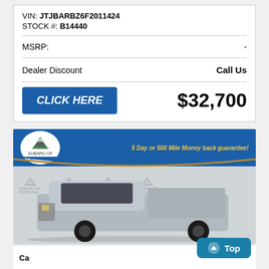VIN: JTJBARBZ6F2011424
STOCK #: B14440
MSRP: -
Dealer Discount    Call Us
CLICK HERE   $32,700
[Figure (photo): Subaru of Portland dealership photo with silver Chevrolet pickup truck, blue banner with logo and '5 Day or 500 Mile Money back guarantee!' text, repeated watermark logos]
Top